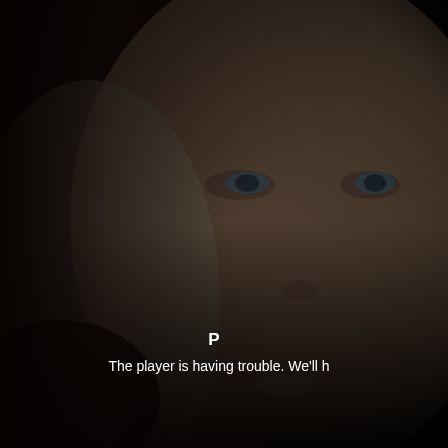[Figure (photo): Close-up photo of a smiling young woman with blonde hair and blue eyes, used as a video player background thumbnail. The image is dimmed/darkened.]
P
The player is having trouble. We'll h